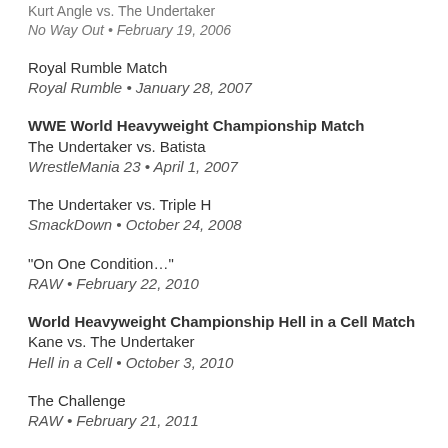Kurt Angle vs. The Undertaker
No Way Out • February 19, 2006
Royal Rumble Match
Royal Rumble • January 28, 2007
WWE World Heavyweight Championship Match
The Undertaker vs. Batista
WrestleMania 23 • April 1, 2007
The Undertaker vs. Triple H
SmackDown • October 24, 2008
“On One Condition…”
RAW • February 22, 2010
World Heavyweight Championship Hell in a Cell Match
Kane vs. The Undertaker
Hell in a Cell • October 3, 2010
The Challenge
RAW • February 21, 2011